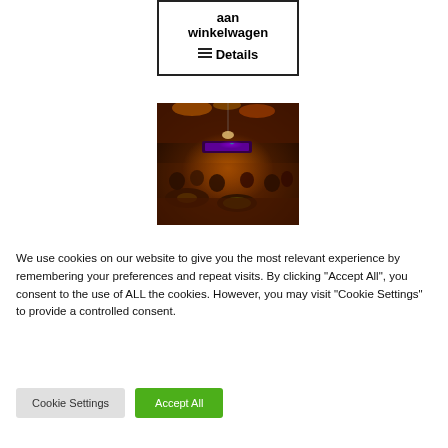[Figure (other): Card with text 'aan winkelwagen' and a Details link, displayed inside a bordered box]
[Figure (photo): Interior of a nightclub or bar with dim orange and purple lighting, people seated at tables, neon signs in background]
We use cookies on our website to give you the most relevant experience by remembering your preferences and repeat visits. By clicking "Accept All", you consent to the use of ALL the cookies. However, you may visit "Cookie Settings" to provide a controlled consent.
Cookie Settings
Accept All